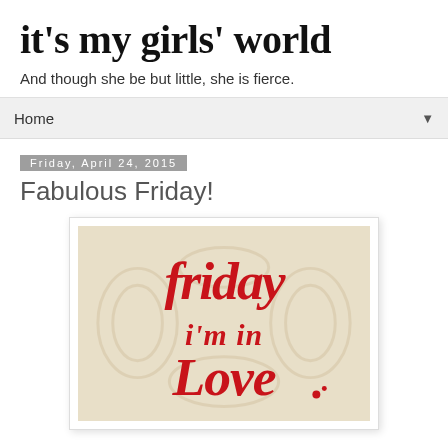it's my girls' world
And though she be but little, she is fierce.
Home
Friday, April 24, 2015
Fabulous Friday!
[Figure (illustration): Decorative calligraphy image on a beige/parchment background with the text 'friday i'm in Love' in red cursive script lettering]